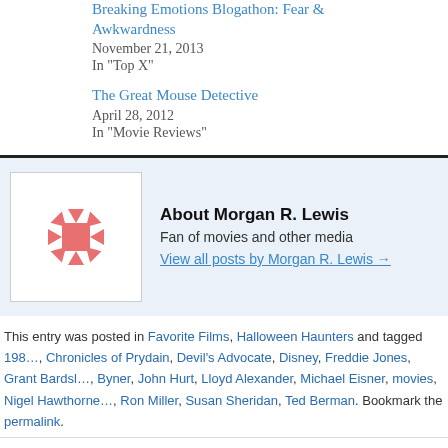Breaking Emotions Blogathon: Fear & Awkwardness
November 21, 2013
In "Top X"
Halloween Hor...
September 25, ...
In "Ramblings a..."
The Great Mouse Detective
April 28, 2012
In "Movie Reviews"
[Figure (logo): Red geometric snowflake/star logo for Morgan R. Lewis blog]
About Morgan R. Lewis
Fan of movies and other media
View all posts by Morgan R. Lewis →
This entry was posted in Favorite Films, Halloween Haunters and tagged 198..., Chronicles of Prydain, Devil's Advocate, Disney, Freddie Jones, Grant Bardsl..., Byner, John Hurt, Lloyd Alexander, Michael Eisner, movies, Nigel Hawthorne..., Ron Miller, Susan Sheridan, Ted Berman. Bookmark the permalink.
← Version vs. Version: Mary Shelley's Frankenstein
Hallow...